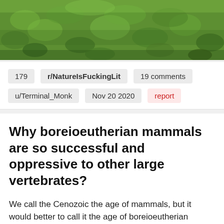[Figure (photo): Photograph of green grass, taken from above or at a low angle, showing dense lush grass blades.]
179   r/NatureIsFuckingLit   19 comments
u/Terminal_Monk   Nov 20 2020   report
Why boreioeutherian mammals are so successful and oppressive to other large vertebrates?
We call the Cenozoic the age of mammals, but it would better to call it the age of boreioeutherian placental mammals. Mammals existed longer than the Cenozoic is a thing as small life forms and were peacefully coexisting with other small vertebrate life forms of other clades just fine. After the dinosaurs and other reptiles went extinct, for around 20 million years mammals got larger and large mammals were not alone. Still ecosystems had a thriving mix of mammals, reptiles and flightless birds in the larger